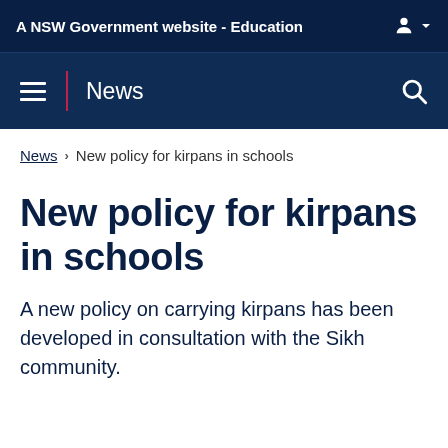A NSW Government website - Education
News
News > New policy for kirpans in schools
New policy for kirpans in schools
A new policy on carrying kirpans has been developed in consultation with the Sikh community.